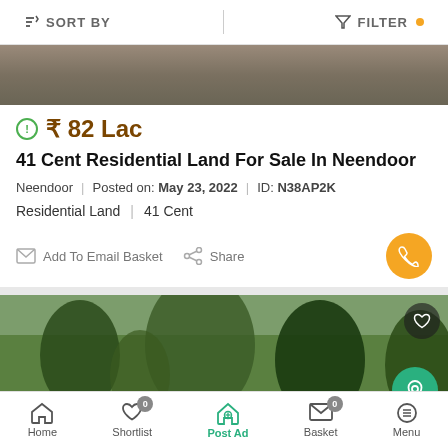SORT BY   FILTER
[Figure (photo): Partial property photo showing land/trees, cropped at top of listing]
₹ 82 Lac
41 Cent Residential Land For Sale In Neendoor
Neendoor | Posted on: May 23, 2022 | ID: N38AP2K
Residential Land | 41 Cent
Add To Email Basket   Share
[Figure (photo): Second property photo showing land with trees and vegetation in Kerala]
Home  Shortlist  Post Ad  Email Basket  Menu